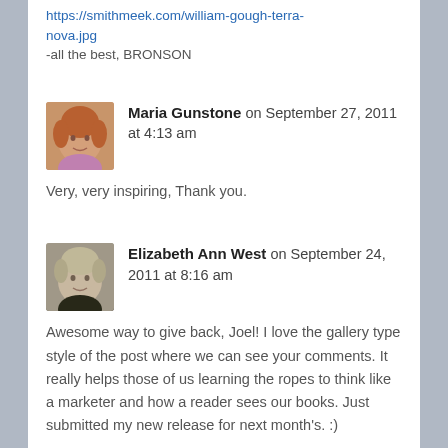https://smithmeek.com/william-gough-terra-nova.jpg
-all the best, BRONSON
[Figure (photo): Avatar photo of Maria Gunstone, a woman with reddish-blonde hair]
Maria Gunstone on September 27, 2011 at 4:13 am
Very, very inspiring, Thank you.
[Figure (photo): Avatar photo of Elizabeth Ann West, a woman with short blonde hair wearing a dark top]
Elizabeth Ann West on September 24, 2011 at 8:16 am
Awesome way to give back, Joel! I love the gallery type style of the post where we can see your comments. It really helps those of us learning the ropes to think like a marketer and how a reader sees our books. Just submitted my new release for next month's. :)